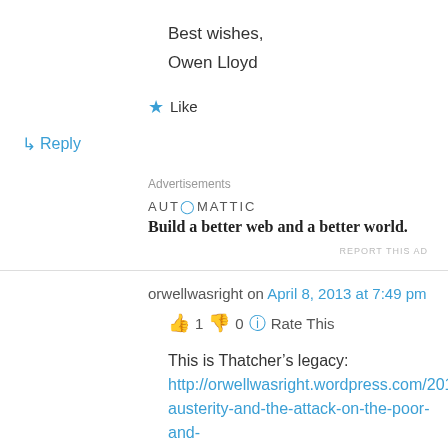Best wishes,
Owen Lloyd
★ Like
↳ Reply
Advertisements
AUTOMATTIC
Build a better web and a better world.
REPORT THIS AD
orwellwasright on April 8, 2013 at 7:49 pm
👍 1 👎 0 ℹ Rate This
This is Thatcher's legacy:
http://orwellwasright.wordpress.com/2013/04/08/austerity-and-the-attack-on-the-poor-and-vulnerable-2/